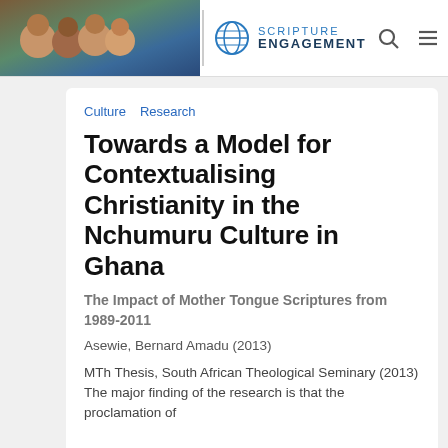Scripture Engagement
Culture  Research
Towards a Model for Contextualising Christianity in the Nchumuru Culture in Ghana
The Impact of Mother Tongue Scriptures from 1989-2011
Asewie, Bernard Amadu (2013)
MTh Thesis, South African Theological Seminary (2013) The major finding of the research is that the proclamation of